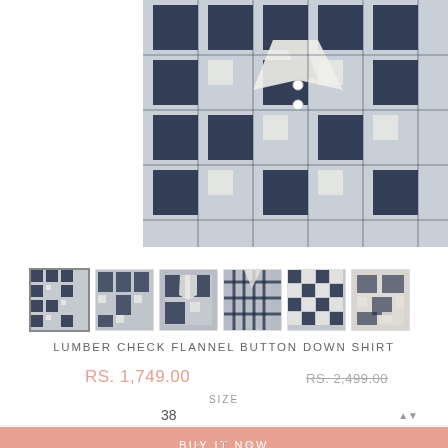[Figure (photo): Close-up photo of a navy blue and white plaid flannel button-down shirt folded, showing collar and buttons]
[Figure (photo): Row of 6 thumbnail product images of the flannel shirt in different views and angles]
LUMBER CHECK FLANNEL BUTTON DOWN SHIRT
RS. 1,749.00
RS. 2,499.00
SIZE
38
BUY IT NOW